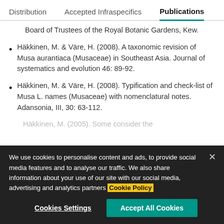Distribution   Accepted Infraspecifics   Publications
Board of Trustees of the Royal Botanic Gardens, Kew.
Häkkinen, M. & Väre, H. (2008). A taxonomic revision of Musa aurantiaca (Musaceae) in Southeast Asia. Journal of systematics and evolution 46: 89-92.
Häkkinen, M. & Väre, H. (2008). Typification and check-list of Musa L. names (Musaceae) with nomenclatural notes. Adansonia, III, 30: 63-112.
We use cookies to personalise content and ads, to provide social media features and to analyse our traffic. We also share information about your use of our site with our social media, advertising and analytics partners Cookie Policy
Cookies Settings   Accept All Cookies